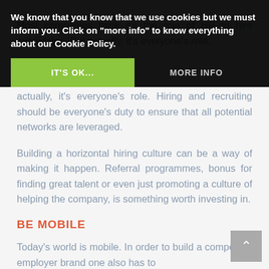We know that you know that we use cookies but we must inform you. Click on "more info" to know everything about our Cookie Policy.
IT'S OK...
MORE INFO
actually, it's everyone's role. Hiring and recruiting should be everyone's duty to ensure that all potential networks are leveraged.
Building a horizontal hiring culture can be a way of making it happen. Referral programmes, bonus for finding great talent or even just promoting a culture of helping the company, is something worth investing in.
BE MOBILE
Today's world is mobile. In order to build a compelling employer brand one also has to